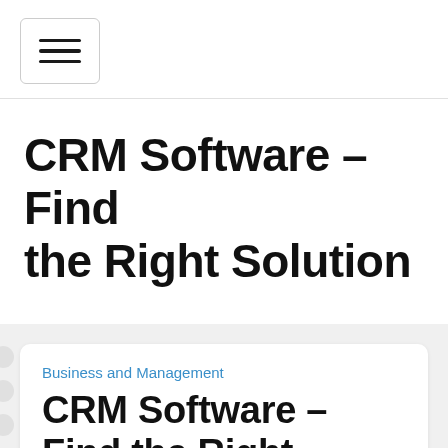[Figure (other): Hamburger menu button with three horizontal lines inside a rounded rectangle border]
CRM Software – Find the Right Solution
Business and Management
CRM Software – Find the Right